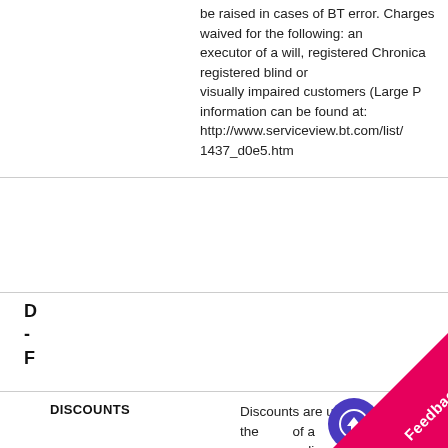be raised in cases of BT error. Charges waived for the following: an executor of a will, registered Chronically registered blind or visually impaired customers (Large Print information can be found at: http://www.serviceview.bt.com/list/1437_d0e5.htm
D - F
DISCOUNTS  Discounts are usually in the form of a numerous discount schemes offered by BT and these often provide certain types of calls or calls made at a certain time of day